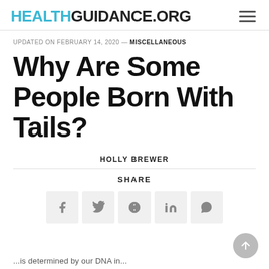HEALTHGUIDANCE.ORG
UPDATED ON FEBRUARY 14, 2020 — MISCELLANEOUS
Why Are Some People Born With Tails?
HOLLY BREWER
SHARE